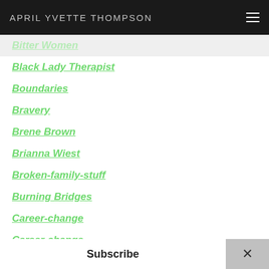APRIL YVETTE THOMPSON
Black Lady Therapist
Boundaries
Bravery
Brene Brown
Brianna Wiest
Broken-family-stuff
Burning Bridges
Career-change
Career-change
Change
Choosing Yourself
Compassion
Connection
Conspiracies Of Silence
Subscribe